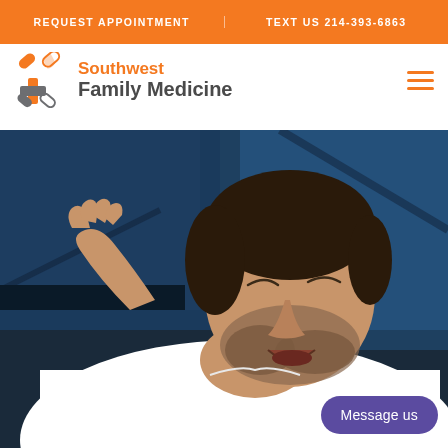REQUEST APPOINTMENT | TEXT US 214-393-6863
[Figure (logo): Southwest Family Medicine logo with pill/cross icon in orange and gray]
[Figure (photo): Man lying in bed with mouth open, appearing to snore, wearing white t-shirt, surrounded by blue pillows]
Message us